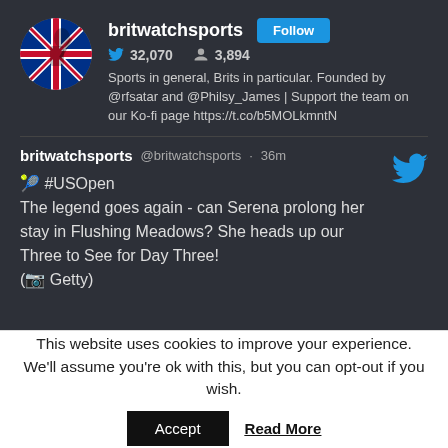britwatchsports
🐦 32,070  👤 3,894
Sports in general, Brits in particular. Founded by @rfsatar and @Philsy_James | Support the team on our Ko-fi page https://t.co/b5MOLkmntN
britwatchsports @britwatchsports · 36m
🎾 #USOpen
The legend goes again - can Serena prolong her stay in Flushing Meadows? She heads up our Three to See for Day Three!
(📷 Getty)
This website uses cookies to improve your experience. We'll assume you're ok with this, but you can opt-out if you wish.